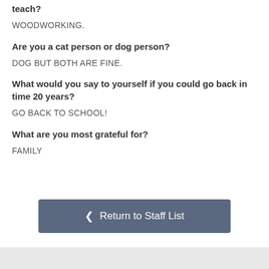If you had to teach a class on one thing, what would you teach?
WOODWORKING.
Are you a cat person or dog person?
DOG BUT BOTH ARE FINE.
What would you say to yourself if you could go back in time 20 years?
GO BACK TO SCHOOL!
What are you most grateful for?
FAMILY
Return to Staff List